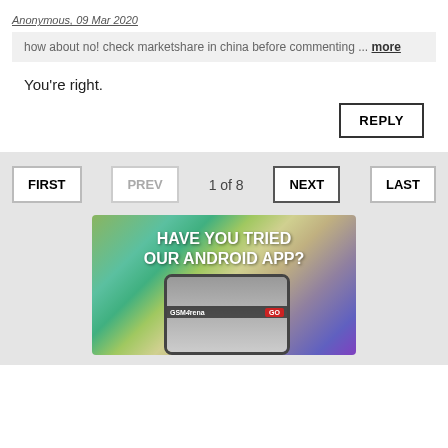Anonymous, 09 Mar 2020
how about no! check marketshare in china before commenting ... more
You're right.
REPLY
FIRST   PREV   1 of 8   NEXT   LAST
[Figure (illustration): Advertisement banner for GSMArena Android app showing a smartphone with 'HAVE YOU TRIED OUR ANDROID APP?' text over a colorful gradient background]